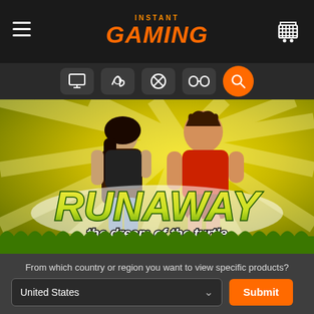INSTANT GAMING
[Figure (screenshot): Instant Gaming website screenshot showing the game 'Runaway: The Dream of the Turtle' with two cartoon characters on a yellow sunburst background with grass at the bottom]
From which country or region you want to view specific products?
United States
Submit